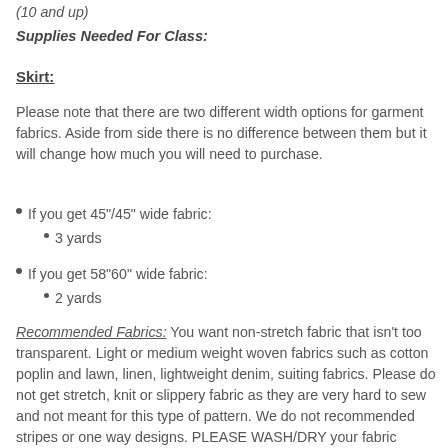(10 and up)
Supplies Needed For Class:
Skirt:
Please note that there are two different width options for garment fabrics. Aside from side there is no difference between them but it will change how much you will need to purchase.
If you get 45"/45" wide fabric:
3 yards
If you get 58"60" wide fabric:
2 yards
Recommended Fabrics: You want non-stretch fabric that isn't too transparent. Light or medium weight woven fabrics such as cotton poplin and lawn, linen, lightweight denim, suiting fabrics. Please do not get stretch, knit or slippery fabric as they are very hard to sew and not meant for this type of pattern. We do not recommended stripes or one way designs. PLEASE WASH/DRY your fabric before class.